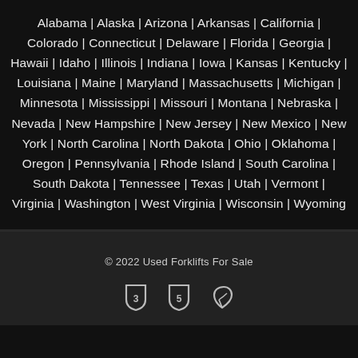Alabama | Alaska | Arizona | Arkansas | California | Colorado | Connecticut | Delaware | Florida | Georgia | Hawaii | Idaho | Illinois | Indiana | Iowa | Kansas | Kentucky | Louisiana | Maine | Maryland | Massachusetts | Michigan | Minnesota | Mississippi | Missouri | Montana | Nebraska | Nevada | New Hampshire | New Jersey | New Mexico | New York | North Carolina | North Dakota | Ohio | Oklahoma | Oregon | Pennsylvania | Rhode Island | South Carolina | South Dakota | Tennessee | Texas | Utah | Vermont | Virginia | Washington | West Virginia | Wisconsin | Wyoming
© 2022 Used Forklifts For Sale